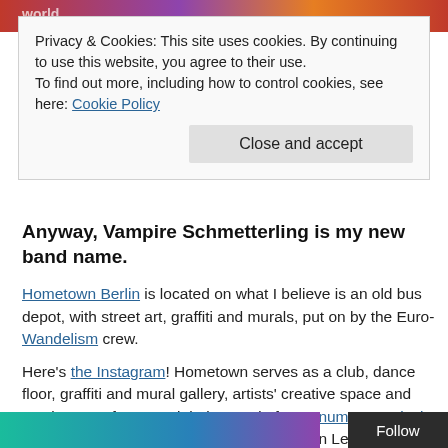[Figure (photo): Partial view of colorful street art or mural at the top of the page]
Privacy & Cookies: This site uses cookies. By continuing to use this website, you agree to their use.
To find out more, including how to control cookies, see here: Cookie Policy
Close and accept
Anyway, Vampire Schmetterling is my new band name.
Hometown Berlin is located on what I believe is an old bus depot, with street art, graffiti and murals, put on by the Euro-Wandelism crew.
Here's the Instagram! Hometown serves as a club, dance floor, graffiti and mural gallery, artists' creative space and staging area for artwork being made for Monumenta Leipzig, a huge street art installation being created in Leipzig.
[Figure (photo): Partial view of colorful street art at the bottom of the page]
Follow